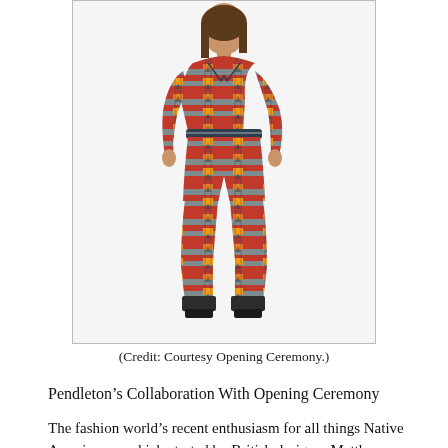[Figure (photo): A woman wearing a patterned jumpsuit with Native American-inspired Southwestern print in red, orange, teal, and black, paired with black ankle boots. The garment is a collaboration piece between Pendleton and Opening Ceremony.]
(Credit: Courtesy Opening Ceremony.)
Pendleton’s Collaboration With Opening Ceremony
The fashion world’s recent enthusiasm for all things Native American was kick-started by British designer Matthew